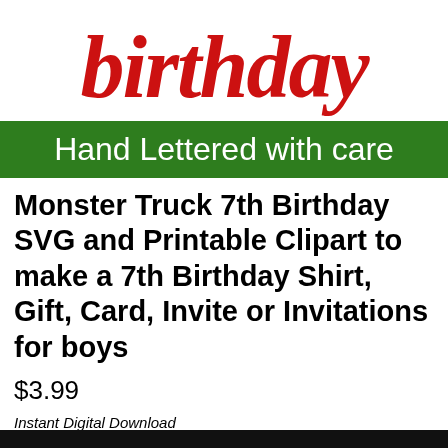[Figure (illustration): Red cursive/script handwritten text reading 'birthday' in decorative red lettering]
Hand Lettered with care
Monster Truck 7th Birthday SVG and Printable Clipart to make a 7th Birthday Shirt, Gift, Card, Invite or Invitations for boys
$3.99
Instant Digital Download